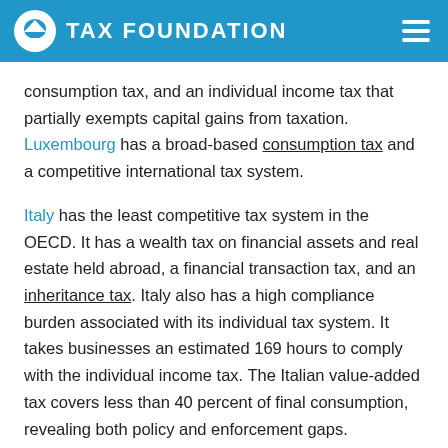TAX FOUNDATION
consumption tax, and an individual income tax that partially exempts capital gains from taxation. Luxembourg has a broad-based consumption tax and a competitive international tax system.
Italy has the least competitive tax system in the OECD. It has a wealth tax on financial assets and real estate held abroad, a financial transaction tax, and an inheritance tax. Italy also has a high compliance burden associated with its individual tax system. It takes businesses an estimated 169 hours to comply with the individual income tax. The Italian value-added tax covers less than 40 percent of final consumption, revealing both policy and enforcement gaps.
Countries that rank poorly on the ITCI often levy relatively